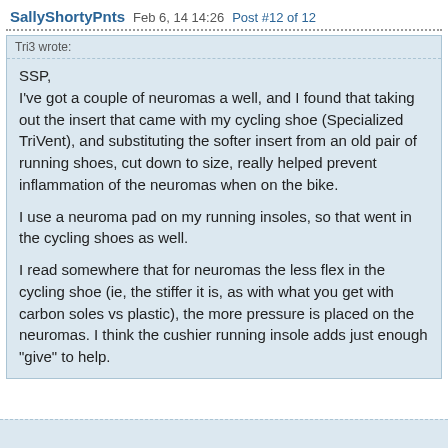SallyShortyPnts  Feb 6, 14 14:26  Post #12 of 12
Tri3 wrote:
SSP,
I've got a couple of neuromas a well, and I found that taking out the insert that came with my cycling shoe (Specialized TriVent), and substituting the softer insert from an old pair of running shoes, cut down to size, really helped prevent inflammation of the neuromas when on the bike.

I use a neuroma pad on my running insoles, so that went in the cycling shoes as well.

I read somewhere that for neuromas the less flex in the cycling shoe (ie, the stiffer it is, as with what you get with carbon soles vs plastic), the more pressure is placed on the neuromas. I think the cushier running insole adds just enough "give" to help.